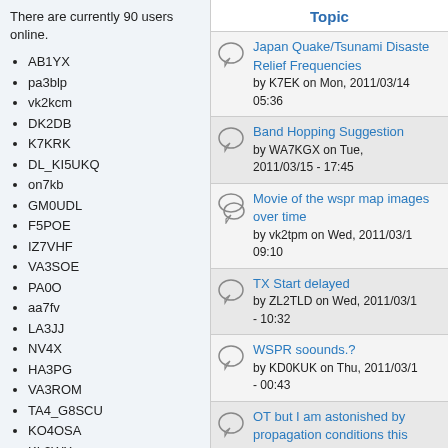There are currently 90 users online.
AB1YX
pa3blp
vk2kcm
DK2DB
K7KRK
DL_KI5UKQ
on7kb
GM0UDL
F5POE
IZ7VHF
VA3SOE
PA0O
aa7fv
LA3JJ
NV4X
HA3PG
VA3ROM
TA4_G8SCU
KO4OSA
KL2WX
M0UNI
N5DSW
KF5GCF
W6JWW
Topic
Japan Quake/Tsunami Disaster Relief Frequencies
by K7EK on Mon, 2011/03/14 05:36
Band Hopping Suggestion
by WA7KGX on Tue, 2011/03/15 - 17:45
Movie of the wspr map images over time
by vk2tpm on Wed, 2011/03/1 09:10
TX Start delayed
by ZL2TLD on Wed, 2011/03/1 - 10:32
WSPR soounds.?
by KD0KUK on Thu, 2011/03/1 - 00:43
OT but I am astonished by propagation conditions this morning
by M0GWI on Thu, 2011/03/17 09:32